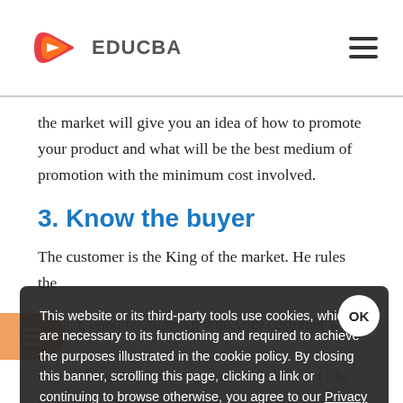EDUCBA
the market will give you an idea of how to promote your product and what will be the best medium of promotion with the minimum cost involved.
3. Know the buyer
The customer is the King of the market. He rules the market, good relationship with your customer will keep you in the game, but if the customer does not like your product, it will be out of the market.
So, to make a long-term relationship with your customer, you need to know your customer well. Their likes, dislikes, what will benefit them, and how to make them happy. It is very
This website or its third-party tools use cookies, which are necessary to its functioning and required to achieve the purposes illustrated in the cookie policy. By closing this banner, scrolling this page, clicking a link or continuing to browse otherwise, you agree to our Privacy Policy